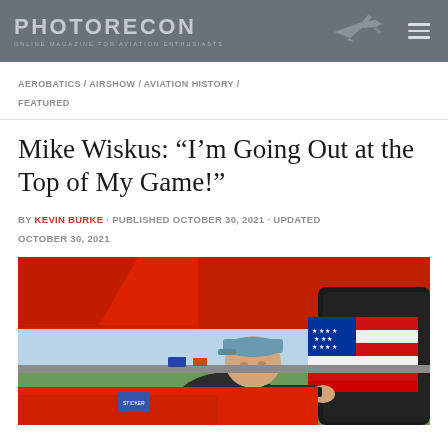PHOTORECON - ONLINE MAGAZINE FOR AVIATION ENTHUSIASTS
AEROBATICS / AIRSHOW / AVIATION HISTORY / FEATURED
Mike Wiskus: “I’m Going Out at the Top of My Game!”
BY KEVIN BURKE · PUBLISHED OCTOBER 30, 2021 · UPDATED OCTOBER 30, 2021
[Figure (photo): Man in blue baseball cap leaning over a red biplane with American flag livery on the engine cowling, at an airshow ramp.]